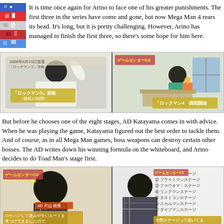[Figure (screenshot): Pixelated game/show image strip on the left side at top]
It is time once again for Arino to face one of his greater punishments. The first three in the series have come and gone, but now Mega Man 4 rears its head. It's long, but it is pretty challenging. However, Arino has managed to finish the first three, so there's some hope for him here.
[Figure (screenshot): Two TV screenshots side by side: left shows Arino playing Rockman 3 with Japanese text overlay showing challenge time 21 hours; right shows Arino in room with Japanese text announcing Rockman 4 challenge start]
But before he chooses one of the eight stages, AD Katayama comes in with advice. When he was playing the game, Katayama figured out the best order to tackle them. And of course, as in all Mega Man games, boss weapons can destroy certain other bosses. The AD writes down his winning formula on the whiteboard, and Arino decides to do Toad Man's stage first.
[Figure (screenshot): Two TV screenshots side by side: left shows AD Katayama with Japanese subtitle text; right shows whiteboard with list of stages written in Japanese]
Toad Man may be the easiest boss to take on first, but his stage is in